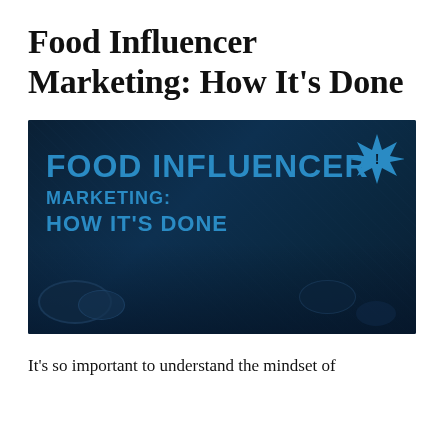Food Influencer Marketing: How It's Done
[Figure (illustration): Dark blue toned image with food items in background and bold blue text overlay reading 'FOOD INFLUENCER MARKETING: HOW IT'S DONE' with a starburst icon in top right corner]
It's so important to understand the mindset of